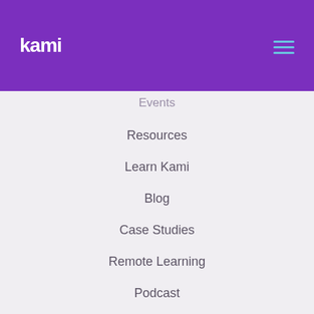kami
Events
Resources
Learn Kami
Blog
Case Studies
Remote Learning
Podcast
Youtube